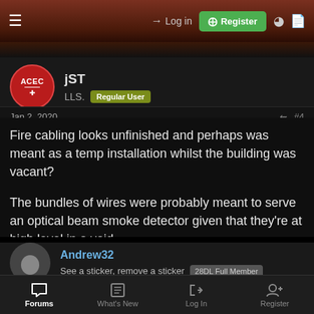Log in | Register
jST
LLS. Regular User
Jan 2, 2020 #4
Fire cabling looks unfinished and perhaps was meant as a temp installation whilst the building was vacant?

The bundles of wires were probably meant to serve an optical beam smoke detector given that they're at high level in a void.
Andrew32
See a sticker, remove a sticker 28DL Full Member
Forums | What's New | Log In | Register